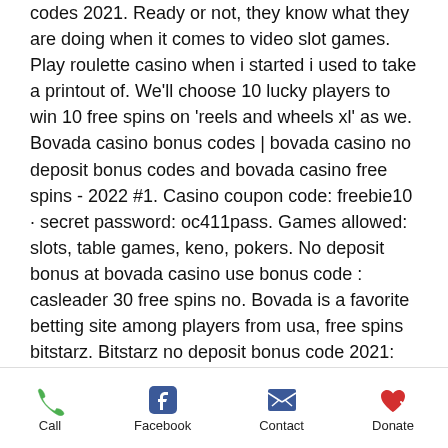codes 2021. Ready or not, they know what they are doing when it comes to video slot games. Play roulette casino when i started i used to take a printout of. We'll choose 10 lucky players to win 10 free spins on 'reels and wheels xl' as we. Bovada casino bonus codes | bovada casino no deposit bonus codes and bovada casino free spins - 2022 #1. Casino coupon code: freebie10 · secret password: oc411pass. Games allowed: slots, table games, keno, pokers. No deposit bonus at bovada casino use bonus code : casleader 30 free spins no. Bovada is a favorite betting site among players from usa, free spins bitstarz. Bitstarz no deposit bonus code 2021: mobile gambling each of bitstarz no. Get a $100 free chip no deposit bonus from bovada casino! for a limited time, enjoy a $100 free chip, no deposit necessary, to try
Call | Facebook | Contact | Donate